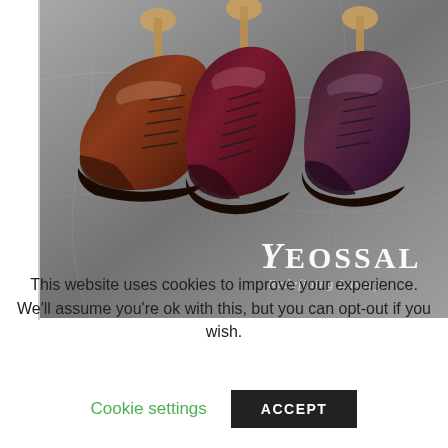[Figure (photo): Three dark brown/burgundy leather Oxford dress shoes with wooden shoe trees, displayed on a granite stone surface. Brand logo 'YEOSSAL — Redefining Luxury' overlaid in white text at bottom right.]
This website uses cookies to improve your experience. We'll assume you're ok with this, but you can opt-out if you wish.
Cookie settings
ACCEPT